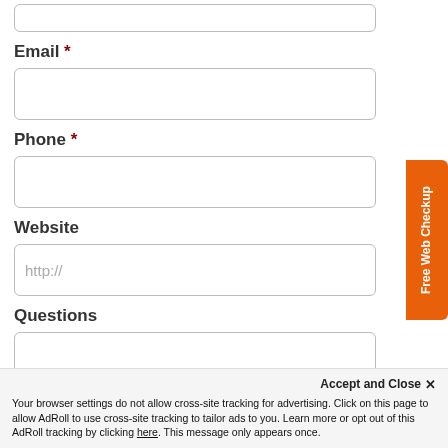Email *
Phone *
Website
Questions
Free Web Checkup
Accept and Close ✕
Your browser settings do not allow cross-site tracking for advertising. Click on this page to allow AdRoll to use cross-site tracking to tailor ads to you. Learn more or opt out of this AdRoll tracking by clicking here. This message only appears once.